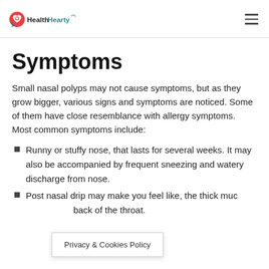HealthHearty
Symptoms
Small nasal polyps may not cause symptoms, but as they grow bigger, various signs and symptoms are noticed. Some of them have close resemblance with allergy symptoms. Most common symptoms include:
Runny or stuffy nose, that lasts for several weeks. It may also be accompanied by frequent sneezing and watery discharge from nose.
Post nasal drip may make you feel like, the thick muc... back of the throat.
Privacy & Cookies Policy